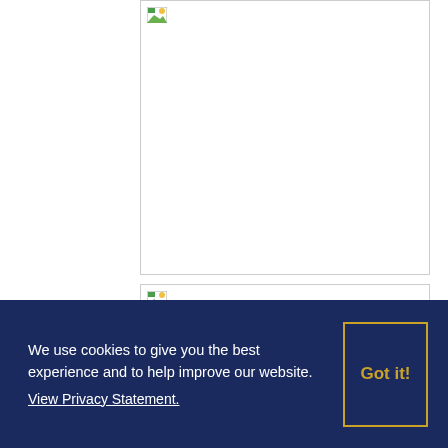[Figure (photo): Broken/unloaded image placeholder, large white rectangle with border]
[Figure (photo): Broken/unloaded image placeholder, smaller white rectangle with border]
We use cookies to give you the best experience and to help improve our website. View Privacy Statement.